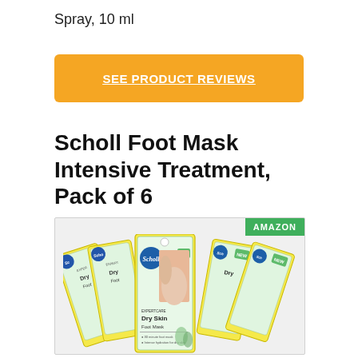Spray, 10 ml
SEE PRODUCT REVIEWS
Scholl Foot Mask Intensive Treatment, Pack of 6
[Figure (photo): Six Scholl ExpertCare Dry Skin Foot Mask product packages (yellow and green packaging) arranged in a fan/spread pattern. Each package shows a foot image and text 'Dry Skin Foot Mask', '30 minute foot mask', 'Intense hydration for dry skin'. Amazon badge in top right corner.]